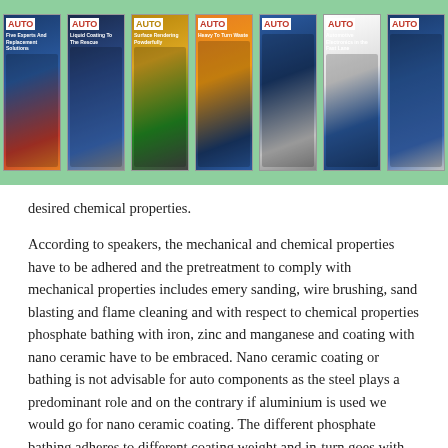[Figure (illustration): A row of seven AUTO magazine covers displayed on a green background banner]
desired chemical properties.

According to speakers, the mechanical and chemical properties have to be adhered and the pretreatment to comply with mechanical properties includes emery sanding, wire brushing, sand blasting and flame cleaning and with respect to chemical properties phosphate bathing with iron, zinc and manganese and coating with nano ceramic have to be embraced. Nano ceramic coating or bathing is not advisable for auto components as the steel plays a predominant role and on the contrary if aluminium is used we would go for nano ceramic coating. The different phosphate bathing adheres to different coating weight and in-turn goes with various chemical properties. Heavy weight system provides good protection against